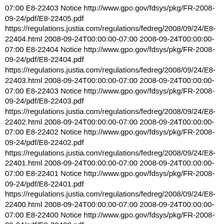07:00 E8-22403 Notice http://www.gpo.gov/fdsys/pkg/FR-2008-09-24/pdf/E8-22405.pdf https://regulations.justia.com/regulations/fedreg/2008/09/24/E8-22404.html 2008-09-24T00:00:00-07:00 2008-09-24T00:00:00-07:00 E8-22404 Notice http://www.gpo.gov/fdsys/pkg/FR-2008-09-24/pdf/E8-22404.pdf https://regulations.justia.com/regulations/fedreg/2008/09/24/E8-22403.html 2008-09-24T00:00:00-07:00 2008-09-24T00:00:00-07:00 E8-22403 Notice http://www.gpo.gov/fdsys/pkg/FR-2008-09-24/pdf/E8-22403.pdf https://regulations.justia.com/regulations/fedreg/2008/09/24/E8-22402.html 2008-09-24T00:00:00-07:00 2008-09-24T00:00:00-07:00 E8-22402 Notice http://www.gpo.gov/fdsys/pkg/FR-2008-09-24/pdf/E8-22402.pdf https://regulations.justia.com/regulations/fedreg/2008/09/24/E8-22401.html 2008-09-24T00:00:00-07:00 2008-09-24T00:00:00-07:00 E8-22401 Notice http://www.gpo.gov/fdsys/pkg/FR-2008-09-24/pdf/E8-22401.pdf https://regulations.justia.com/regulations/fedreg/2008/09/24/E8-22400.html 2008-09-24T00:00:00-07:00 2008-09-24T00:00:00-07:00 E8-22400 Notice http://www.gpo.gov/fdsys/pkg/FR-2008-09-24/pdf/E8-22400.pdf https://regulations.justia.com/regulations/fedreg/2008/09/24/E8-22399.html 2008-09-24T00:00:00-07:00 2008-09-24T00:00:00-07:00 E8-22399 Notice http://www.gpo.gov/fdsys/pkg/FR-2008-09-24/pdf/E8-22399.pdf